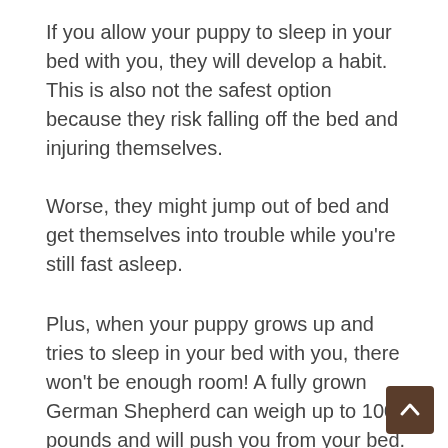If you allow your puppy to sleep in your bed with you, they will develop a habit. This is also not the safest option because they risk falling off the bed and injuring themselves.
Worse, they might jump out of bed and get themselves into trouble while you're still fast asleep.
Plus, when your puppy grows up and tries to sleep in your bed with you, there won't be enough room! A fully grown German Shepherd can weigh up to 100 pounds and will push you from your bed.
Allowing your puppy to sleep on the floor next to you or in the same room as you, as well as using a puppy playpen to keep them safe and secure, is preferable and safer. Plus, when they're sleeping in the same room, you can wake up to their cries to go potty and